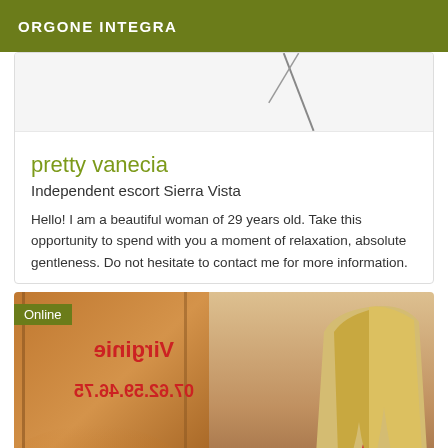ORGONE INTEGRA
[Figure (photo): Partial photo at top of card, white/grey background with dark diagonal lines visible]
pretty vanecia
Independent escort Sierra Vista
Hello! I am a beautiful woman of 29 years old. Take this opportunity to spend with you a moment of relaxation, absolute gentleness. Do not hesitate to contact me for more information.
[Figure (photo): Photo showing a blonde woman from behind in red clothing on the right side, and a mirror reflection with red mirrored text 'Virginie' and '07.62.59.46.75' on the left side. Green 'Online' badge in top left corner.]